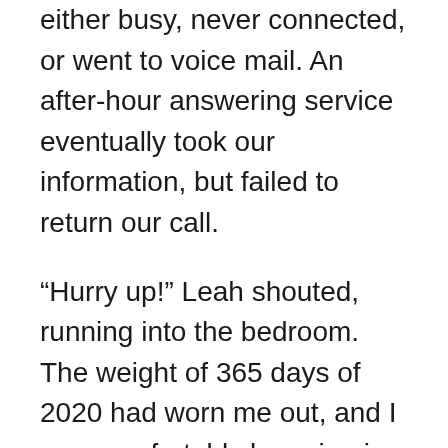either busy, never connected, or went to voice mail. An after-hour answering service eventually took our information, but failed to return our call.
“Hurry up!” Leah shouted, running into the bedroom. The weight of 365 days of 2020 had worn me out, and I was comfortably lounging in bed. I glanced at the night table clock. It was 8:30am.
“Let’s go!” she commanded. “The Health Department is giving out the vaccine, and cars are already lining up across the street.” Leah had been on her morning walk, when she